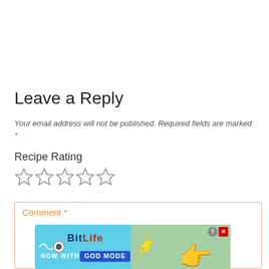Leave a Reply
Your email address will not be published. Required fields are marked *
Recipe Rating
[Figure (other): Five empty star rating icons in a row]
Comment *
[Figure (infographic): BitLife advertisement banner: NOW WITH GOD MODE]